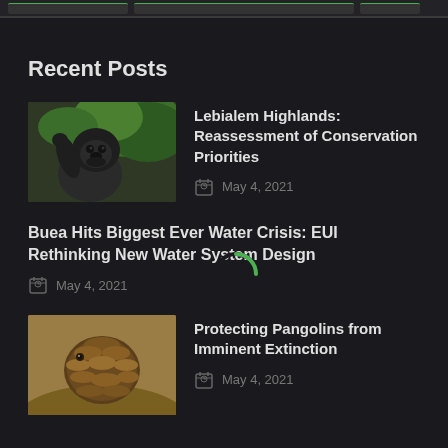Recent Posts
Lebialem Highlands: Reassessment of Conservation Priorities — May 4, 2021
Buea Hits Biggest Ever Water Crisis: EUI Rethinking New Water System Design — May 4, 2021
Protecting Pangolins from Imminent Extinction — May 4, 2021